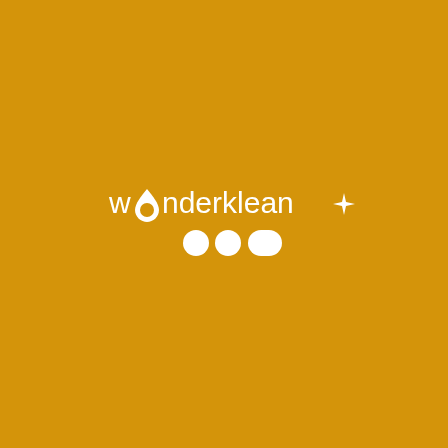[Figure (logo): Wonderklean logo on golden/amber yellow background. White text reads 'wOnderklean' with a stylized capital O (water drop shape) and a sparkle/star symbol after the text. Below the text are three white shapes: two circles and one pill/rounded rectangle, arranged horizontally.]